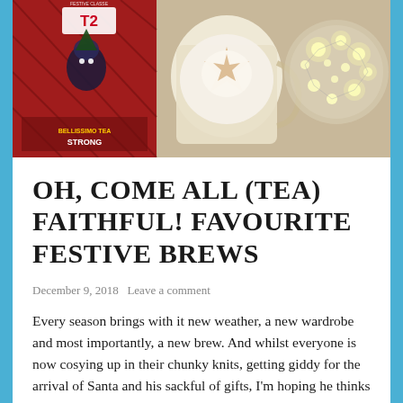[Figure (photo): Hero photo showing a red T2 Festive Classics tea box on the left, a latte/chai drink in a glass mug with star-shaped foam art in the center, and a glowing string-light Christmas ornament/sphere on the right, on a warm beige background.]
OH, COME ALL (TEA) FAITHFUL! FAVOURITE FESTIVE BREWS
December 9, 2018   Leave a comment
Every season brings with it new weather, a new wardrobe and most importantly, a new brew. And whilst everyone is now cosying up in their chunky knits, getting giddy for the arrival of Santa and his sackful of gifts, I'm hoping he thinks I've been a